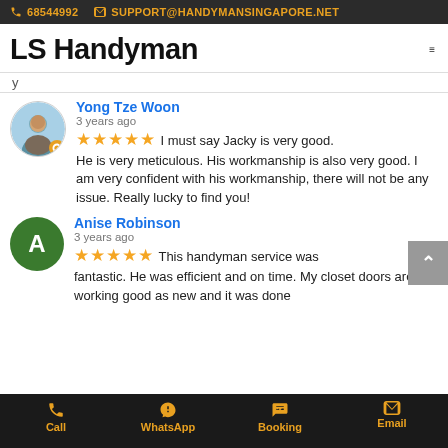📞 68544992  ✉ SUPPORT@HANDYMANSINGAPORE.NET
LS Handyman
y
Yong Tze Woon
3 years ago
★★★★★ I must say Jacky is very good. He is very meticulous. His workmanship is also very good. I am very confident with his workmanship, there will not be any issue. Really lucky to find you!
Anise Robinson
3 years ago
★★★★★ This handyman service was fantastic. He was efficient and on time. My closet doors are working good as new and it was done
Call | WhatsApp | Booking | Email